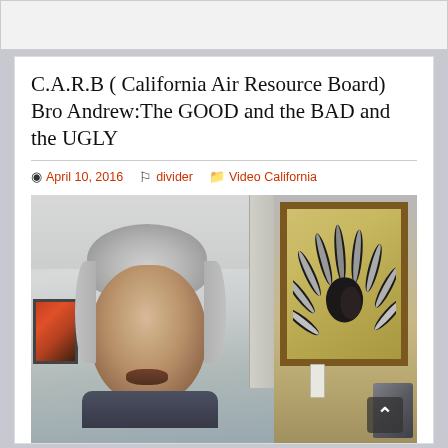C.A.R.B ( California Air Resource Board) Bro Andrew:The GOOD and the BAD and the UGLY
April 10, 2016   divider   Video California
[Figure (photo): Video thumbnail or screenshot showing an older man with white/gray hair speaking, with a room interior visible including a small painting on the left wall and a large framed Native American headdress artwork on the right side. A back-to-top arrow button is visible in the lower right corner.]